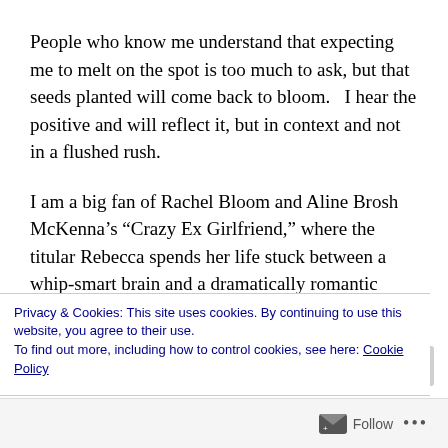People who know me understand that expecting me to melt on the spot is too much to ask, but that seeds planted will come back to bloom.   I hear the positive and will reflect it, but in context and not in a flushed rush.
I am a big fan of Rachel Bloom and Aline Brosh McKenna’s “Crazy Ex Girlfriend,” where the titular Rebecca spends her life stuck between a whip-smart brain and a dramatically romantic heart.   “If you are deciding who the right guy is for her,” the creators warn, “you are missing the point.  This is about her
Privacy & Cookies: This site uses cookies. By continuing to use this website, you agree to their use.
To find out more, including how to control cookies, see here: Cookie Policy
Close and accept
Follow